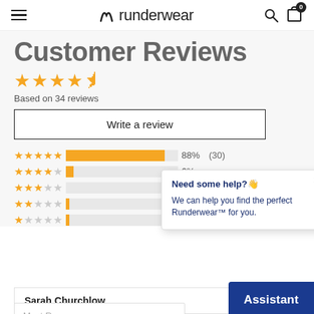runderwear
Customer Reviews
Based on 34 reviews
Write a review
[Figure (bar-chart): Star rating distribution]
Need some help?👋
We can help you find the perfect Runderwear™ for you.
Most Recent
Assistant
Sarah Churchlow